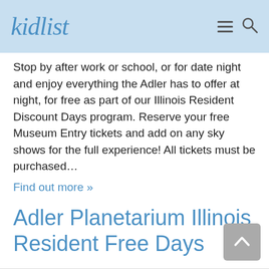kidlist
Stop by after work or school, or for date night and enjoy everything the Adler has to offer at night, for free as part of our Illinois Resident Discount Days program. Reserve your free Museum Entry tickets and add on any sky shows for the full experience! All tickets must be purchased…
Find out more »
Adler Planetarium Illinois Resident Free Days